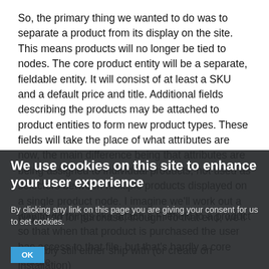So, the primary thing we wanted to do was to separate a product from its display on the site. This means products will no longer be tied to nodes. The core product entity will be a separate, fieldable entity. It will consist of at least a SKU and a default price and title. Additional fields describing the products may be attached to product entities to form new product types. These fields will take the place of what attributes are now, the main difference being that attributes are being assigned to individual products, not used as selectors between multiple products displayed on a single product node. I imagine we'll work out a way to do things like attach a Filefield to a product so that when that product is purchased the user has access to that file, but that's hardly a core feature.
We use cookies on this site to enhance your user experience
By clicking any link on this page you are giving your consent for us to set cookies.
displayed for purchase, though. To that end, we'll probably still either ship with (or create on installation)